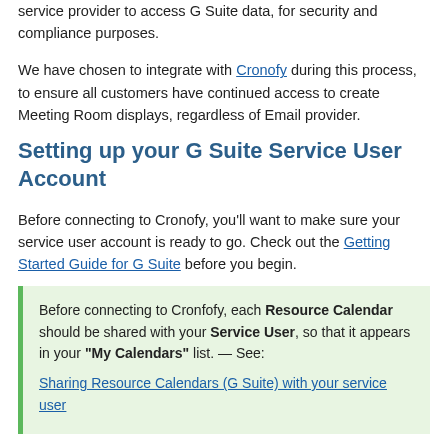service provider to access G Suite data, for security and compliance purposes.
We have chosen to integrate with Cronofy during this process, to ensure all customers have continued access to create Meeting Room displays, regardless of Email provider.
Setting up your G Suite Service User Account
Before connecting to Cronofy, you'll want to make sure your service user account is ready to go. Check out the Getting Started Guide for G Suite before you begin.
Before connecting to Cronfofy, each Resource Calendar should be shared with your Service User, so that it appears in your "My Calendars" list. — See: Sharing Resource Calendars (G Suite) with your service user